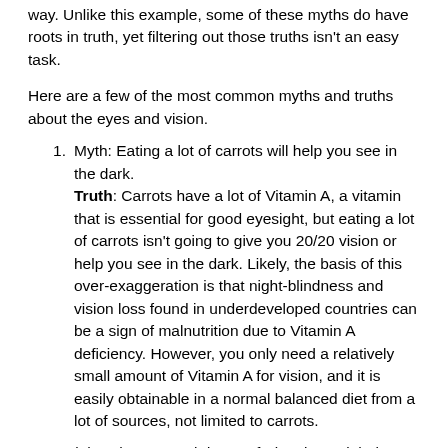way. Unlike this example, some of these myths do have roots in truth, yet filtering out those truths isn't an easy task.
Here are a few of the most common myths and truths about the eyes and vision.
Myth: Eating a lot of carrots will help you see in the dark. Truth: Carrots have a lot of Vitamin A, a vitamin that is essential for good eyesight, but eating a lot of carrots isn't going to give you 20/20 vision or help you see in the dark. Likely, the basis of this over-exaggeration is that night-blindness and vision loss found in underdeveloped countries can be a sign of malnutrition due to Vitamin A deficiency. However, you only need a relatively small amount of Vitamin A for vision, and it is easily obtainable in a normal balanced diet from a lot of sources, not limited to carrots.
Higher-than-normal doses of Vitamin A might be useful in treating certain eye conditions and as part of a combination of vitamins used to slow the progression of early-stage